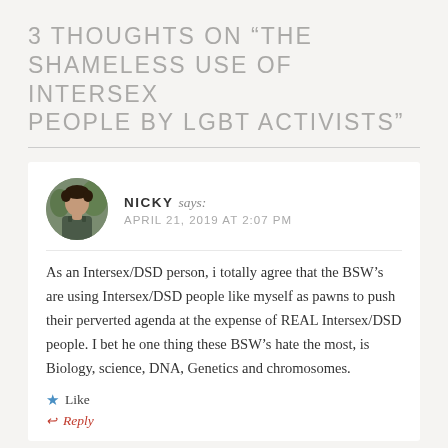3 THOUGHTS ON “THE SHAMELESS USE OF INTERSEX PEOPLE BY LGBT ACTIVISTS”
NICKY says: APRIL 21, 2019 AT 2:07 PM
As an Intersex/DSD person, i totally agree that the BSW’s are using Intersex/DSD people like myself as pawns to push their perverted agenda at the expense of REAL Intersex/DSD people. I bet he one thing these BSW’s hate the most, is Biology, science, DNA, Genetics and chromosomes.
Like
Reply